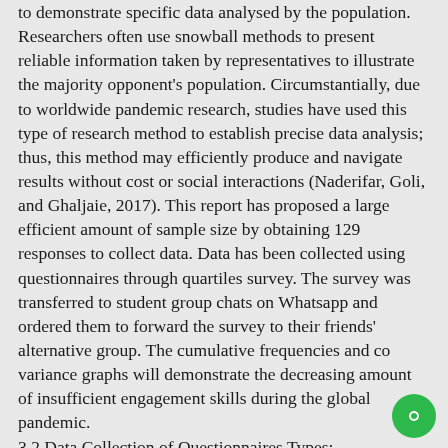to demonstrate specific data analysed by the population. Researchers often use snowball methods to present reliable information taken by representatives to illustrate the majority opponent's population. Circumstantially, due to worldwide pandemic research, studies have used this type of research method to establish precise data analysis; thus, this method may efficiently produce and navigate results without cost or social interactions (Naderifar, Goli, and Ghaljaie, 2017). This report has proposed a large efficient amount of sample size by obtaining 129 responses to collect data. Data has been collected using questionnaires through quartiles survey. The survey was transferred to student group chats on Whatsapp and ordered them to forward the survey to their friends' alternative group. The cumulative frequencies and co variance graphs will demonstrate the decreasing amount of insufficient engagement skills during the global pandemic.
3.2 Data Collection of Questionnaires Types:
This statistical analysis has provided various questionnaire types to not bore the participants and to prevent close ended or misleading questionnaires. The questionnaires were established through multiple choices of more than a single answer within the answer choice, and matrix percentage scale to give the participants the